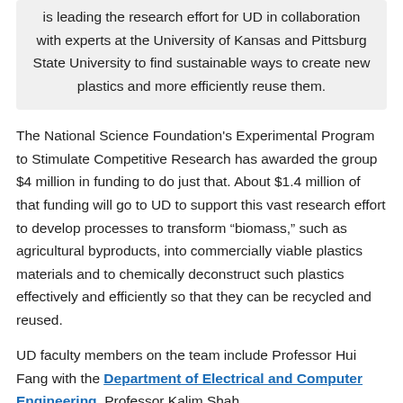is leading the research effort for UD in collaboration with experts at the University of Kansas and Pittsburg State University to find sustainable ways to create new plastics and more efficiently reuse them.
The National Science Foundation's Experimental Program to Stimulate Competitive Research has awarded the group $4 million in funding to do just that. About $1.4 million of that funding will go to UD to support this vast research effort to develop processes to transform “biomass,” such as agricultural byproducts, into commercially viable plastics materials and to chemically deconstruct such plastics effectively and efficiently so that they can be recycled and reused.
UD faculty members on the team include Professor Hui Fang with the Department of Electrical and Computer Engineering, Professor Kalim Shah...